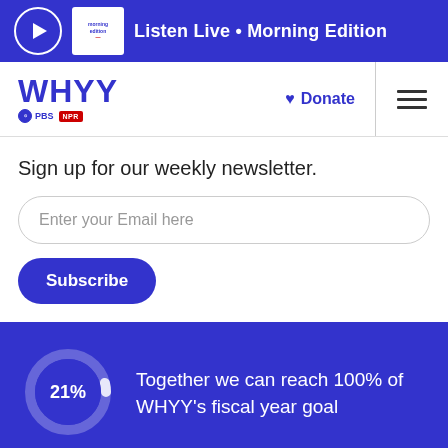Listen Live • Morning Edition
[Figure (logo): WHYY PBS NPR logo with Donate button and hamburger menu]
Sign up for our weekly newsletter.
Enter your Email here
Subscribe
[Figure (donut-chart): WHYY fiscal year goal progress]
Together we can reach 100% of WHYY's fiscal year goal